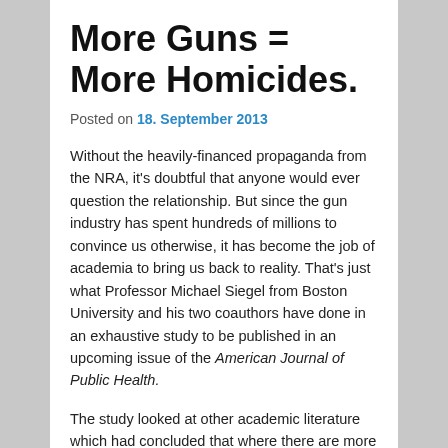More Guns = More Homicides.
Posted on 18. September 2013
Without the heavily-financed propaganda from the NRA, it's doubtful that anyone would ever question the relationship. But since the gun industry has spent hundreds of millions to convince us otherwise, it has become the job of academia to bring us back to reality. That's just what Professor Michael Siegel from Boston University and his two coauthors have done in an exhaustive study to be published in an upcoming issue of the American Journal of Public Health.
The study looked at other academic literature which had concluded that where there are more guns there is more homicide. It compared gun availability and homicides using data from 26 developed nations. It analyzed the relationship between gun ownership and homicides using